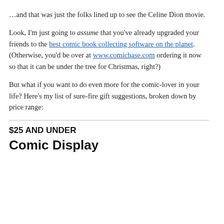…and that was just the folks lined up to see the Celine Dion movie.
Look, I'm just going to assume that you've already upgraded your friends to the best comic book collecting software on the planet. (Otherwise, you'd be over at www.comicbase.com ordering it now so that it can be under the tree for Christmas, right?)
But what if you want to do even more for the comic-lover in your life? Here's my list of sure-fire gift suggestions, broken down by price range:
$25 AND UNDER
Comic Display